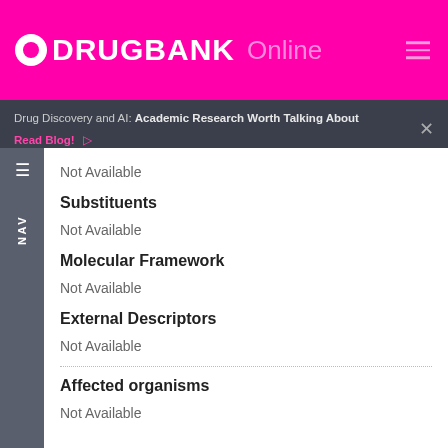DRUGBANK Online
Drug Discovery and AI: Academic Research Worth Talking About
Read Blog!
Not Available
Substituents
Not Available
Molecular Framework
Not Available
External Descriptors
Not Available
Affected organisms
Not Available